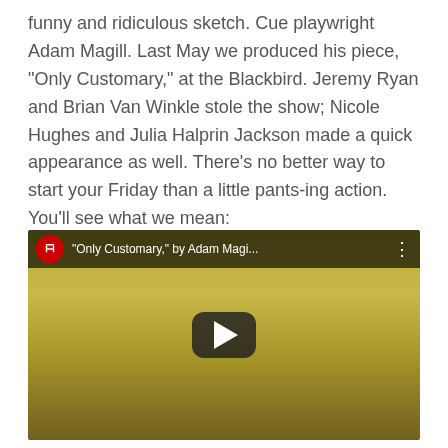funny and ridiculous sketch. Cue playwright Adam Magill. Last May we produced his piece, "Only Customary," at the Blackbird. Jeremy Ryan and Brian Van Winkle stole the show; Nicole Hughes and Julia Halprin Jackson made a quick appearance as well. There's no better way to start your Friday than a little pants-ing action. You'll see what we mean:
[Figure (screenshot): YouTube video embed showing two people standing at microphone stands on a stage with a yellowish-tan wall behind them. The video title reads '"Only Customary," by Adam Magi...' with a YouTube play button overlay in the center.]